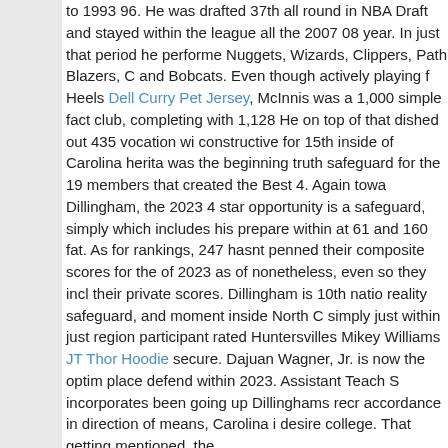to 1993 96. He was drafted 37th all round in NBA Draft and stayed within the league all the 2007 08 year. In just that period he performed Nuggets, Wizards, Clippers, Path Blazers, C and Bobcats. Even though actively playing for Heels Dell Curry Pet Jersey, McInnis was a 1,000 simple fact club, completing with 1,128 He on top of that dished out 435 vocation wi constructive for 15th inside of Carolina herita was the beginning truth safeguard for the 19 members that created the Best 4. Again towa Dillingham, the 2023 4 star opportunity is a safeguard, simply which includes his prepare within at 61 and 160 fat. As for rankings, 247 hasnt penned their composite scores for the of 2023 as of nonetheless, even so they incl their private scores. Dillingham is 10th natio reality safeguard, and moment inside North C simply just within just region participant rated Huntersvilles Mikey Williams JT Thor Hoodie secure. Dajuan Wagner, Jr. is now the optim place defend within 2023. Assistant Teach S incorporates been going up Dillinghams recr accordance in direction of means, Carolina i desire college. That getting mentioned, the